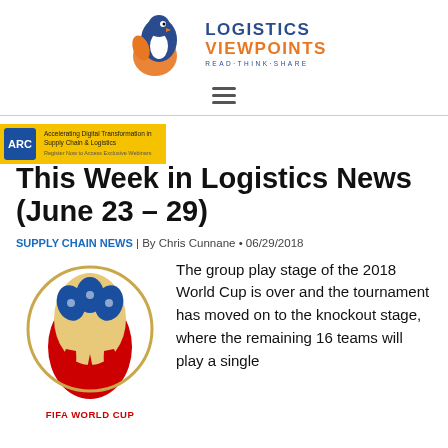[Figure (logo): Logistics Viewpoints logo with penguin icon, blue and orange text, tagline READ THINK SHARE]
[Figure (other): Hamburger menu icon (three horizontal lines)]
[Figure (other): ARC Advisory Group banner advertisement - yellow background with text about Accelerating Digital Transformation]
This Week in Logistics News (June 23 – 29)
SUPPLY CHAIN NEWS | By Chris Cunnane • 06/29/2018
[Figure (logo): FIFA World Cup 2018 Russia official trophy logo - red and blue decorative design]
The group play stage of the 2018 World Cup is over and the tournament has moved on to the knockout stage, where the remaining 16 teams will play a single
FIFA WORLD CUP